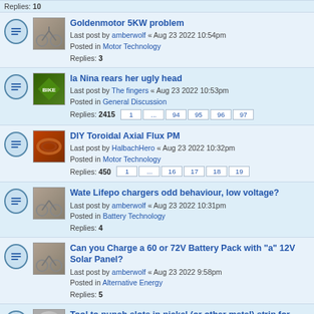Replies: 10
Goldenmotor 5KW problem — Last post by amberwolf « Aug 23 2022 10:54pm — Posted in Motor Technology — Replies: 3
la Nina rears her ugly head — Last post by The fingers « Aug 23 2022 10:53pm — Posted in General Discussion — Replies: 2415 — Pages: 1 ... 94 95 96 97
DIY Toroidal Axial Flux PM — Last post by HalbachHero « Aug 23 2022 10:32pm — Posted in Motor Technology — Replies: 450 — Pages: 1 ... 16 17 18 19
Wate Lifepo chargers odd behaviour, low voltage? — Last post by amberwolf « Aug 23 2022 10:31pm — Posted in Battery Technology — Replies: 4
Can you Charge a 60 or 72V Battery Pack with "a" 12V Solar Panel? — Last post by amberwolf « Aug 23 2022 9:58pm — Posted in Alternative Energy — Replies: 5
Tool to punch slots in nickel (or other metal) strip for welding — Last post by jonyjoe303 « Aug 23 2022 9:42pm — Posted in Battery Technology